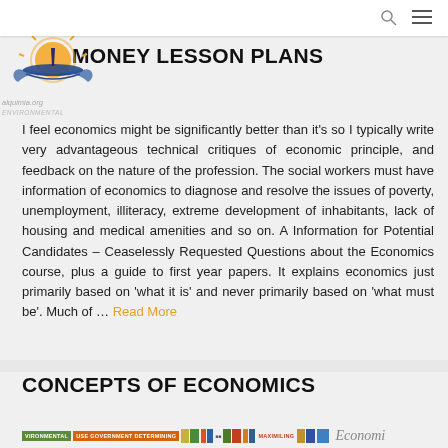MONEY LESSON PLANS
I feel economics might be significantly better than it's so I typically write very advantageous technical critiques of economic principle, and feedback on the nature of the profession. The social workers must have information of economics to diagnose and resolve the issues of poverty, unemployment, illiteracy, extreme development of inhabitants, lack of housing and medical amenities and so on. A Information for Potential Candidates – Ceaselessly Requested Questions about the Economics course, plus a guide to first year papers. It explains economics just primarily based on 'what it is' and never primarily based on 'what must be'. Much of … Read More
CONCEPTS OF ECONOMICS